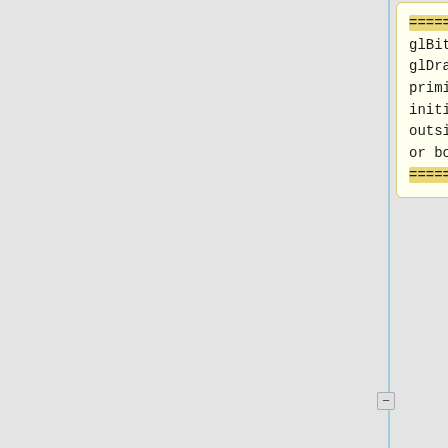===== How do I draw glBitmap() or glDrawPixels() primitives that have an initial glRasterPos() outside the window's left or bottom edge? =====
When the raster position is set outside